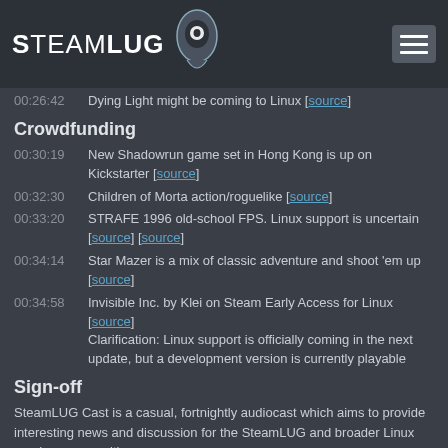SteamLUG
00:26:42  Dying Light might be coming to Linux [source]
Crowdfunding
00:30:19  New Shadowrun game set in Hong Kong is up on Kickstarter [source]
00:32:30  Children of Morta action/roguelike [source]
00:33:20  STRAFE 1996 old-school FPS. Linux support is uncertain [source] [source]
00:34:14  Star Mazer is a mix of classic adventure and shoot 'em up [source]
00:34:58  Invisible Inc. by Klei on Steam Early Access for Linux [source]  Clarification: Linux support is officially coming in the next update, but a development version is currently playable
Sign-off
SteamLUG Cast is a casual, fortnightly audiocast which aims to provide interesting news and discussion for the SteamLUG and broader Linux gaming communities.
Visit our site [source] and the cast homepage [source]